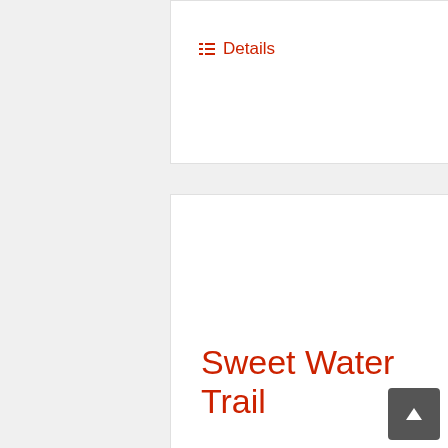≡ Details
Sweet Water Trail
$4,600.00
ADD